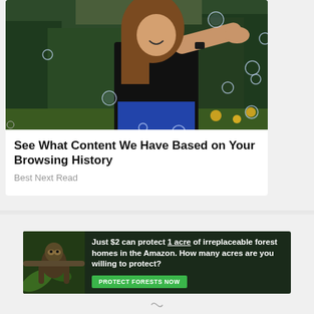[Figure (photo): Woman in black t-shirt smiling and holding out her hand with soap bubbles floating around her, outdoors with green trees in background]
See What Content We Have Based on Your Browsing History
Best Next Read
[Figure (photo): Amazon forest conservation advertisement banner: dark forest background with sloth image on left. Text reads: Just $2 can protect 1 acre of irreplaceable forest homes in the Amazon. How many acres are you willing to protect? Green button: PROTECT FORESTS NOW]